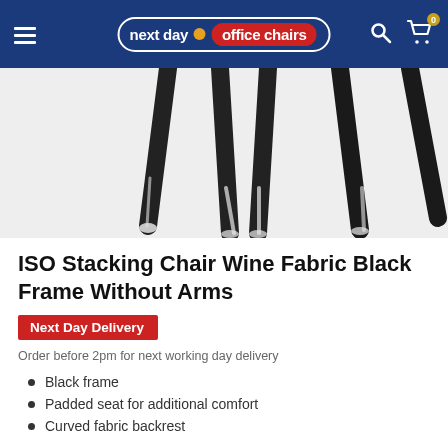next day office chairs
[Figure (photo): Close-up photo of chair legs (black metal) with white/reflective feet tips against a white background, showing multiple stacking chairs from below]
ISO Stacking Chair Wine Fabric Black Frame Without Arms
Next Day Delivery
Order before 2pm for next working day delivery
Black frame
Padded seat for additional comfort
Curved fabric backrest